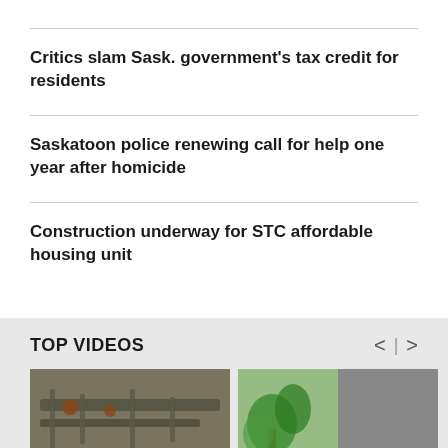Critics slam Sask. government's tax credit for residents
Saskatoon police renewing call for help one year after homicide
Construction underway for STC affordable housing unit
TOP VIDEOS
[Figure (photo): Video thumbnail showing machinery/pipes, part of TOP VIDEOS section]
[Figure (photo): Video thumbnail showing plants/nature, partially visible]